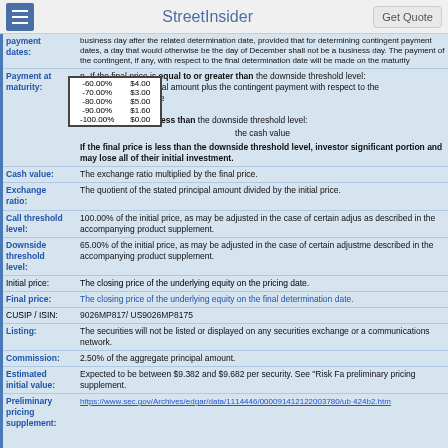StreetInsider | Get Quote
| payment dates: | business day after the related determination date, provided that for determining contingent payment dates, a day that would otherwise be the day of December shall not be a business day. The payment of the contingent, if any, with respect to the final determination date will be made on the maturity |
| Payment at maturity: | n If the final price is equal to or greater than the downside threshold level: (i) the stated principal amount plus the contingent payment with respect to the determination date
n If the final price is less than the downside threshold level:
the cash value
If the final price is less than the downside threshold level, investors will lose a significant portion and may lose all of their initial investment. |
| Cash value: | The exchange ratio multiplied by the final price. |
| Exchange ratio: | The quotient of the stated principal amount divided by the initial price. |
| Call threshold level: | 100.00% of the initial price, as may be adjusted in the case of certain adjustments, as described in the accompanying product supplement. |
| Downside threshold level: | 65.00% of the initial price, as may be adjusted in the case of certain adjustments, as described in the accompanying product supplement. |
| Initial price: | The closing price of the underlying equity on the pricing date. |
| Final price: | The closing price of the underlying equity on the final determination date. |
| CUSIP / ISIN: | 9026MP817/ US9026MP8175 |
| Listing: | The securities will not be listed or displayed on any securities exchange or alternative communications network. |
| Commission: | 2.50% of the aggregate principal amount. |
| Estimated initial value: | Expected to be between $9.382 and $9.682 per security. See "Risk Fa" preliminary pricing supplement. |
| Preliminary pricing supplement: | https://www.sec.gov/Archives/edgar/data/1114446/000091412122003780/ub424b2.htm |
[Figure (table-as-image): Overlay table showing percentage rows: -60.00% $4.00, -70.00% $3.00 (partially visible as $3.00), -80.00% (partially visible as $5.00%), -90.00% $1.60 (partially as -$0.00%), -100.00% $0.00]
If the final price is less than the downside threshold level, investors will lose a significant portion and may lose all of their initial investment.